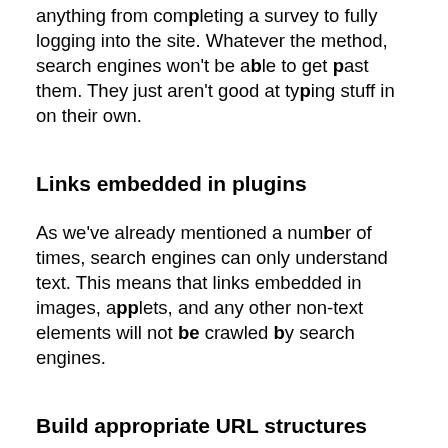anything from completing a survey to fully logging into the site. Whatever the method, search engines won't be able to get past them. They just aren't good at typing stuff in on their own.
Links embedded in plugins
As we've already mentioned a number of times, search engines can only understand text. This means that links embedded in images, applets, and any other non-text elements will not be crawled by search engines.
Build appropriate URL structures
URLs are important for SEO because it's through URLs that users find their way to a webpage. And it's important that URLs are descriptive and have a